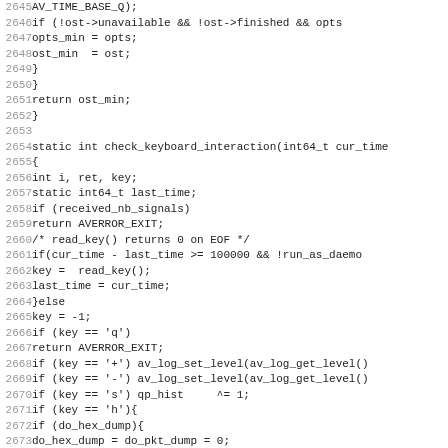Source code listing lines 2645-2676, C programming language code showing functions with keyboard interaction check